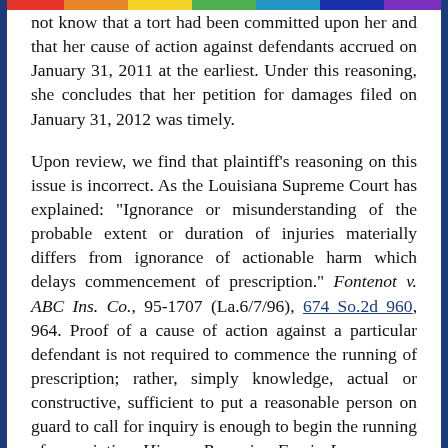not know that a tort had been committed upon her and that her cause of action against defendants accrued on January 31, 2011 at the earliest. Under this reasoning, she concludes that her petition for damages filed on January 31, 2012 was timely.
Upon review, we find that plaintiff's reasoning on this issue is incorrect. As the Louisiana Supreme Court has explained: "Ignorance or misunderstanding of the probable extent or duration of injuries materially differs from ignorance of actionable harm which delays commencement of prescription." Fontenot v. ABC Ins. Co., 95-1707 (La.6/7/96), 674 So.2d 960, 964. Proof of a cause of action against a particular defendant is not required to commence the running of prescription; rather, simply knowledge, actual or constructive, sufficient to put a reasonable person on guard to call for inquiry is enough to begin the running of prescription. Hines v. Browning-Ferris, Inc.,